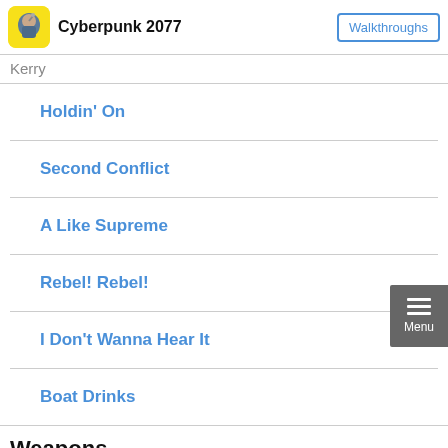Cyberpunk 2077 | Walkthroughs
Kerry
Holdin' On
Second Conflict
A Like Supreme
Rebel! Rebel!
I Don't Wanna Hear It
Boat Drinks
Weapons
List of Weapons